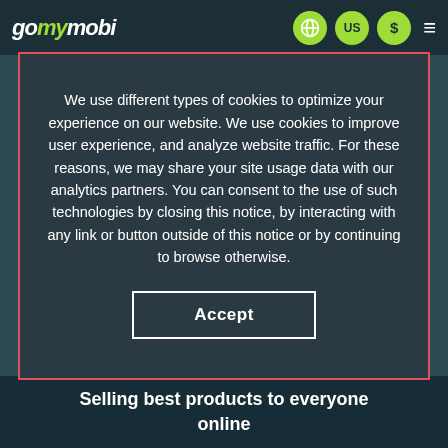gomymobi — navigation bar with globe, US, $, and menu icons
We use different types of cookies to optimize your experience on our website. We use cookies to improve user experience, and analyze website traffic. For these reasons, we may share your site usage data with our analytics partners. You can consent to the use of such technologies by closing this notice, by interacting with any link or button outside of this notice or by continuing to browse otherwise.
Accept
Selling best products to everyone online